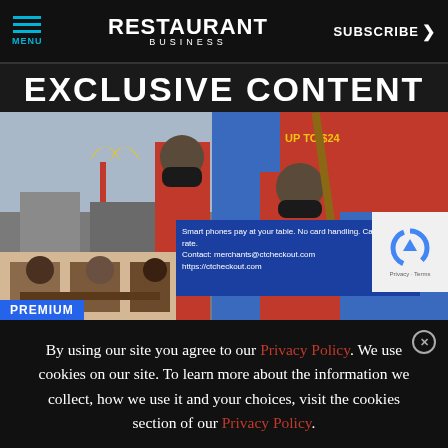MENU | RESTAURANT BUSINESS | SUBSCRIBE >
EXCLUSIVE CONTENT
[Figure (photo): Photo collage: McDonald's drive-thru with $15 protest sign on left; masked worker holding protest sign (Fight for $15) on right. Below left: people eating at restaurant table. Ad overlay: 'Smart phones pay at your table. No card handling. Card read rate. Contact: merchants@ctcheckout.com https://ctcheckout.com'. reCAPTCHA widget visible. PREMIUM label at bottom.]
By using our site you agree to our Privacy Policy. We use cookies on our site. To learn more about the information we collect, how we use it and your choices, visit the cookies section of our Privacy Policy.